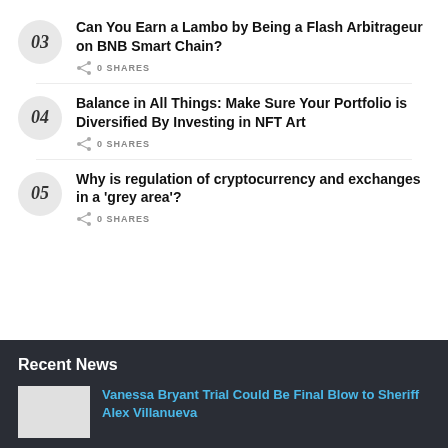03 Can You Earn a Lambo by Being a Flash Arbitrageur on BNB Smart Chain? 0 SHARES
04 Balance in All Things: Make Sure Your Portfolio is Diversified By Investing in NFT Art 0 SHARES
05 Why is regulation of cryptocurrency and exchanges in a 'grey area'? 0 SHARES
Recent News
Vanessa Bryant Trial Could Be Final Blow to Sheriff Alex Villanueva